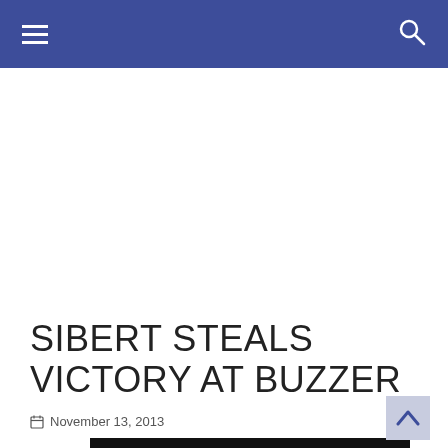Navigation bar with hamburger menu and search icon
SIBERT STEALS VICTORY AT BUZZER
November 13, 2013
[Figure (photo): Partial image visible at bottom of page, dark background with some content]